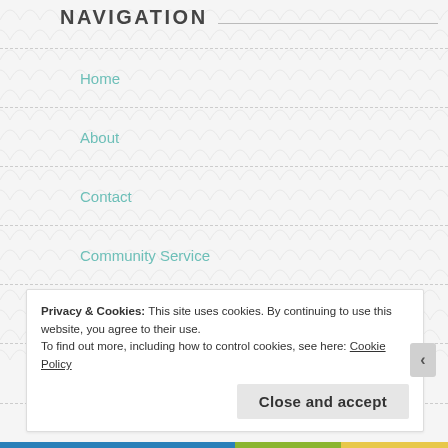NAVIGATION
Home
About
Contact
Community Service
Policies
Giveaway Rules
Privacy & Cookies: This site uses cookies. By continuing to use this website, you agree to their use.
To find out more, including how to control cookies, see here: Cookie Policy
Close and accept